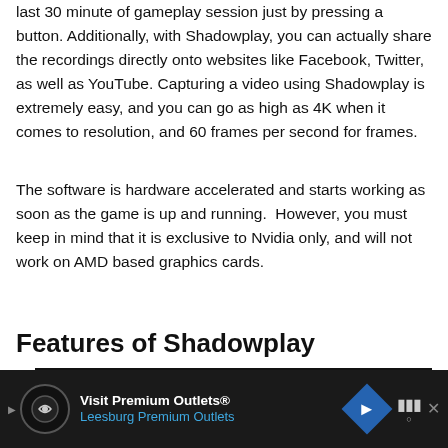last 30 minute of gameplay session just by pressing a button. Additionally, with Shadowplay, you can actually share the recordings directly onto websites like Facebook, Twitter, as well as YouTube. Capturing a video using Shadowplay is extremely easy, and you can go as high as 4K when it comes to resolution, and 60 frames per second for frames.
The software is hardware accelerated and starts working as soon as the game is up and running.  However, you must keep in mind that it is exclusive to Nvidia only, and will not work on AMD based graphics cards.
Features of Shadowplay
[Figure (screenshot): Screenshot showing a comparison table titled 'Today's Capture Tools vs. ShadowPlay' with columns: Local, Twitch, Game, GPU, Cost]
[Figure (other): Advertisement bar for Visit Premium Outlets® / Leesburg Premium Outlets with navigation arrow icon and mute button]